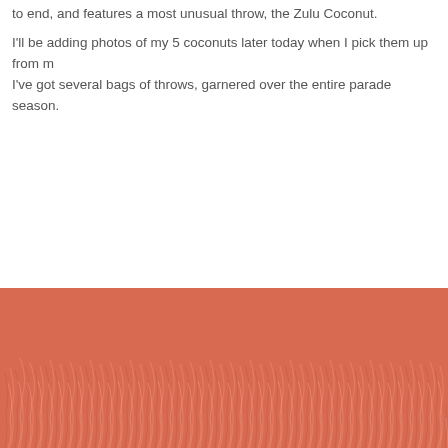to end, and features a most unusual throw, the Zulu Coconut.
I'll be adding photos of my 5 coconuts later today when I pick them up from m I've got several bags of throws, garnered over the entire parade season.
[Figure (photo): Close-up photo of fluffy/fuzzy pink-orange textured material, possibly a fur or feathered fabric, filling the bottom portion of the page.]